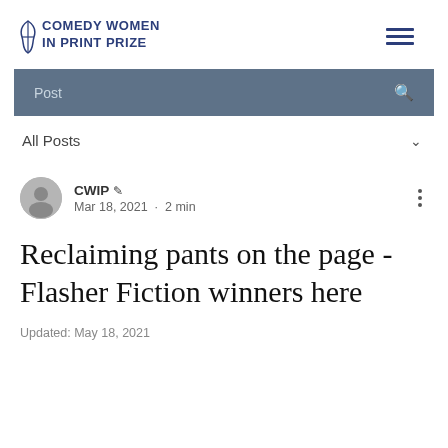COMEDY WOMEN IN PRINT PRIZE
Post
All Posts
CWIP · Mar 18, 2021 · 2 min
Reclaiming pants on the page - Flasher Fiction winners here
Updated: May 18, 2021